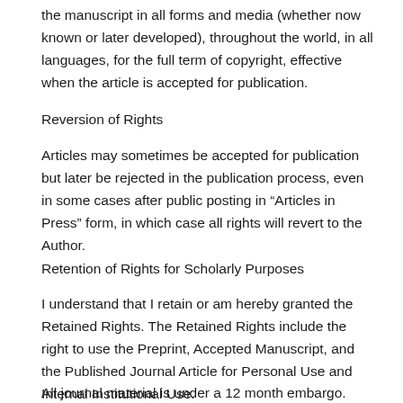the manuscript in all forms and media (whether now known or later developed), throughout the world, in all languages, for the full term of copyright, effective when the article is accepted for publication.
Reversion of Rights
Articles may sometimes be accepted for publication but later be rejected in the publication process, even in some cases after public posting in “Articles in Press” form, in which case all rights will revert to the Author.
Retention of Rights for Scholarly Purposes
I understand that I retain or am hereby granted the Retained Rights. The Retained Rights include the right to use the Preprint, Accepted Manuscript, and the Published Journal Article for Personal Use and Internal Institutional Use.
All journal material is under a 12 month embargo. Authors who